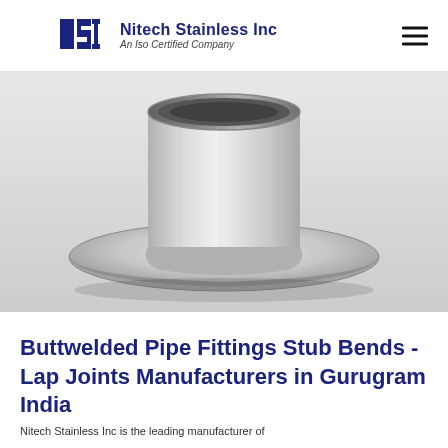Nitech Stainless Inc — An Iso Certified Company
[Figure (photo): Stainless steel buttwelded pipe fitting stub end / lap joint — a cylindrical metal fitting with a wide flat flange base, photographed on white background, showing brushed metal surface finish]
Buttwelded Pipe Fittings Stub Bends - Lap Joints Manufacturers in Gurugram India
Nitech Stainless Inc is the leading manufacturer of